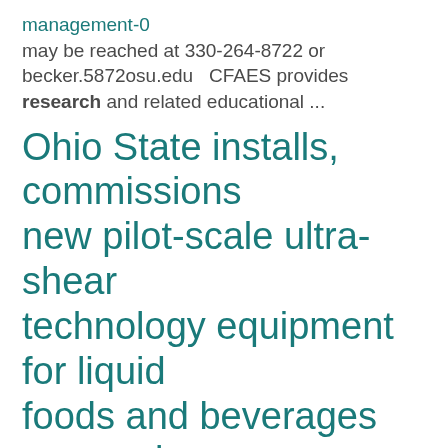management-0 may be reached at 330-264-8722 or becker.5872osu.edu   CFAES provides research and related educational ...
Ohio State installs, commissions new pilot-scale ultra-shear technology equipment for liquid foods and beverages processing
https://fst.osu.edu/news/ohio-state-installs-commissions-new-pilot-scale-ultra-shear-technology-equipment-liquid-foods
Sciences (CFAES). Researchers in the CFAES departments of Food Science and Technology as well as Food, ... beverages,"